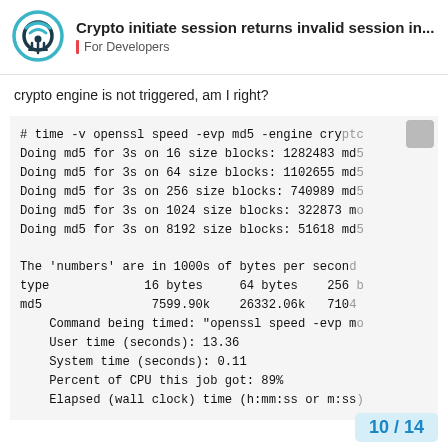Crypto initiate session returns invalid session in... | For Developers
crypto engine is not triggered, am I right?
# time -v openssl speed -evp md5 -engine crypt...
Doing md5 for 3s on 16 size blocks: 1282483 md5...
Doing md5 for 3s on 64 size blocks: 1102655 md5...
Doing md5 for 3s on 256 size blocks: 740989 md5...
Doing md5 for 3s on 1024 size blocks: 322873 mo...
Doing md5 for 3s on 8192 size blocks: 51618 md5...

The 'numbers' are in 1000s of bytes per second...
type             16 bytes     64 bytes    256 b...
md5               7599.90k    26332.06k   7104...
    Command being timed: "openssl speed -evp mo...
    User time (seconds): 13.36
    System time (seconds): 0.11
    Percent of CPU this job got: 89%
    Elapsed (wall clock) time (h:mm:ss or m:ss)...
10 / 14